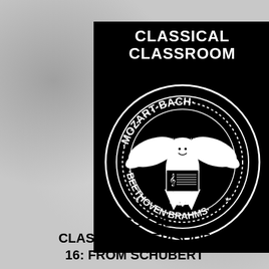[Figure (illustration): Classical Classroom podcast cover art featuring a circular seal design (parody of the Ramones logo) on a black background. The seal shows an eagle with a child's face, holding music-related items, surrounded by text reading MOZART, BACH, BEETHOVEN, BRAHMS in a circular band with stars. The outer poster has 'CLASSICAL CLASSROOM' in large white bold text at the top. The background of the full image is a blurred gray texture.]
CLASSICAL CLASSROOM, EPISODE 16: FROM SCHUBERT